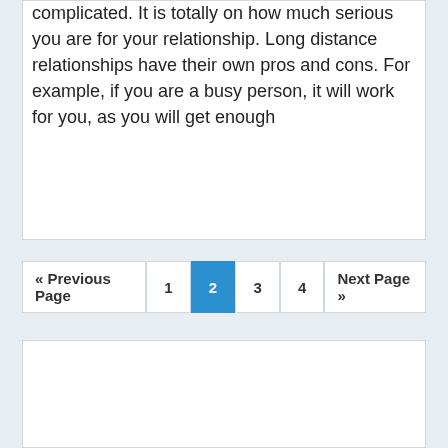complicated. It is totally on how much serious you are for your relationship. Long distance relationships have their own pros and cons. For example, if you are a busy person, it will work for you, as you will get enough
Continue Reading
« Previous Page  1  2  3  4  Next Page »